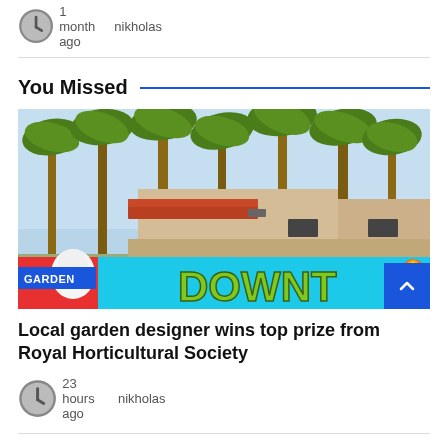Mortgages and Advice
1 month ago   nikholas
You Missed
[Figure (photo): Outdoor scene with tall palm trees, a tan adobe/Spanish-style building with a red tile roof, and a colorful street mural at the bottom reading 'DOWNT' with cartoon characters. A 'GARDEN' tag overlays the bottom-left corner.]
Local garden designer wins top prize from Royal Horticultural Society
23 hours ago   nikholas